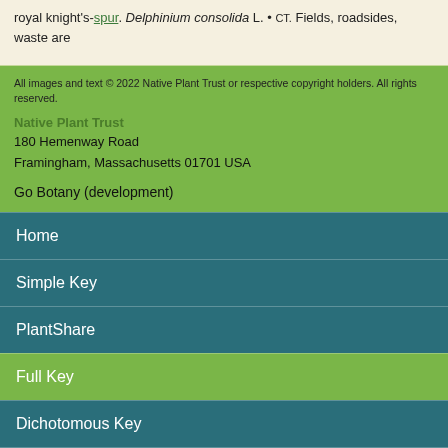royal knight's-spur. Delphinium consolida L. • CT. Fields, roadsides, waste are…
All images and text © 2022 Native Plant Trust or respective copyright holders. All rights reserved.
Native Plant Trust
180 Hemenway Road
Framingham, Massachusetts 01701 USA
Go Botany (development)
Home
Simple Key
PlantShare
Full Key
Dichotomous Key
Teaching